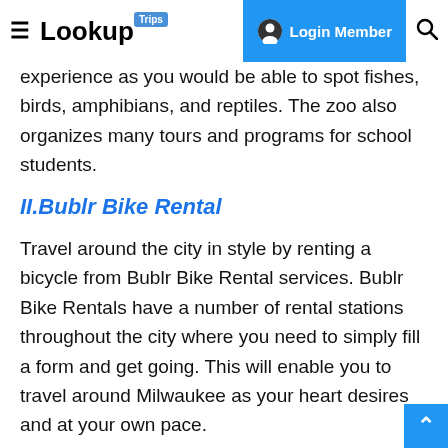≡ LookupTrips | Login Member | 🔍
experience as you would be able to spot fishes, birds, amphibians, and reptiles. The zoo also organizes many tours and programs for school students.
II.Bublr Bike Rental
Travel around the city in style by renting a bicycle from Bublr Bike Rental services. Bublr Bike Rentals have a number of rental stations throughout the city where you need to simply fill a form and get going. This will enable you to travel around Milwaukee as your heart desires and at your own pace.